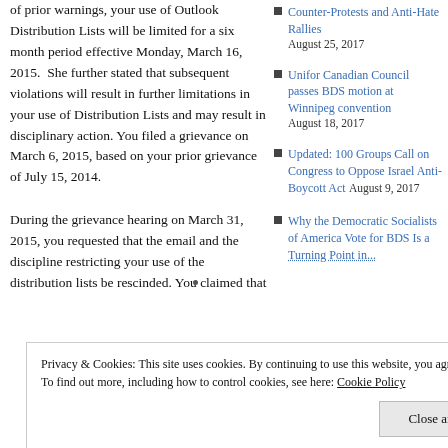of prior warnings, your use of Outlook Distribution Lists will be limited for a six month period effective Monday, March 16, 2015.  She further stated that subsequent violations will result in further limitations in your use of Distribution Lists and may result in disciplinary action. You filed a grievance on March 6, 2015, based on your prior grievance of July 15, 2014.
During the grievance hearing on March 31, 2015, you requested that the email and the discipline restricting your use of the distribution lists be rescinded. You claimed that
Counter-Protests and Anti-Hate Rallies August 25, 2017
Unifor Canadian Council passes BDS motion at Winnipeg convention August 18, 2017
Updated: 100 Groups Call on Congress to Oppose Israel Anti-Boycott Act August 9, 2017
Why the Democratic Socialists of America Vote for BDS Is a Turning Point in...
Privacy & Cookies: This site uses cookies. By continuing to use this website, you agree to their use.
To find out more, including how to control cookies, see here: Cookie Policy
Will Labor Stand for